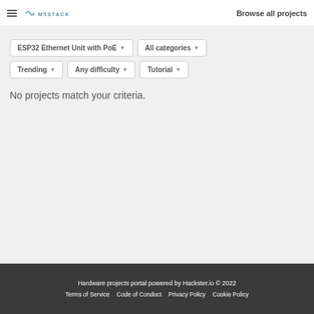Browse all projects
ESP32 Ethernet Unit with PoE ▾  |  All categories ▾  |  Trending ▾  |  Any difficulty ▾  |  Tutorial ▾
No projects match your criteria.
Hardware projects portal powered by Hackster.io © 2022
Terms of Service   Code of Conduct   Privacy Policy   Cookie Policy